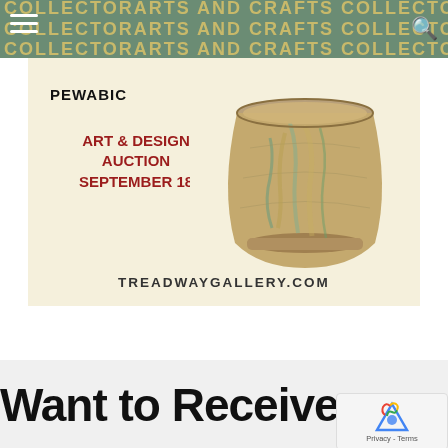COLLECTORARTS AND CRAFTS COLLECTORARTS AND CRAFTS
[Figure (illustration): Advertisement banner for Treadway Gallery featuring a Pewabic ceramic pot/vase on a cream background. Text reads: PEWABIC, ART & DESIGN AUCTION SEPTEMBER 18, TREADWAYGALLERY.COM]
Want to Receive
[Figure (other): reCAPTCHA widget showing robot/recaptcha icon with Privacy - Terms links]